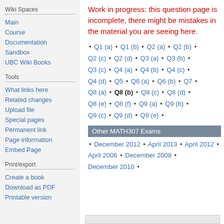Wiki Spaces
Main
Course
Documentation
Sandbox
UBC Wiki Books
Tools
What links here
Related changes
Upload file
Special pages
Permanent link
Page information
Embed Page
Print/export
Create a book
Download as PDF
Printable version
Work in progress: this question page is incomplete, there might be mistakes in the material you are seeing here.
• Q1 (a) • Q1 (b) • Q2 (a) • Q2 (b) • Q2 (c) • Q2 (d) • Q3 (a) • Q3 (b) • Q3 (c) • Q4 (a) • Q4 (b) • Q4 (c) • Q4 (d) • Q5 • Q6 (a) • Q6 (b) • Q7 • Q8 (a) • Q8 (b) • Q8 (c) • Q8 (d) • Q8 (e) • Q8 (f) • Q9 (a) • Q9 (b) • Q9 (c) • Q9 (d) • Q9 (e) •
Other MATH307 Exams
• December 2012 • April 2013 • April 2012 • April 2006 • December 2008 • December 2010 •